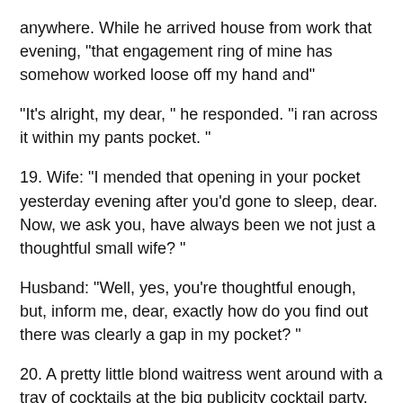anywhere. While he arrived house from work that evening, "that engagement ring of mine has somehow worked loose off my hand and"
"It's alright, my dear, " he responded. "i ran across it within my pants pocket. "
19. Wife: "I mended that opening in your pocket yesterday evening after you'd gone to sleep, dear. Now, we ask you, have always been we not just a thoughtful small wife? "
Husband: "Well, yes, you're thoughtful enough, but, inform me, dear, exactly how do you find out there was clearly a gap in my pocket? "
20. A pretty little blond waitress went around with a tray of cocktails at the big publicity cocktail party. Later later in the day, a female asked the host, you heard of woman because of the martinis? "pardon me personally, but have"